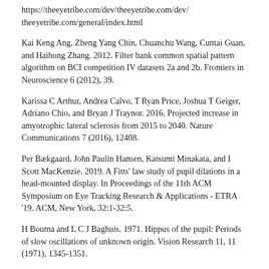https://theeyetribe.com/dev/theeyetribe.com/dev/theeyetribe.com/general/index.html
Kai Keng Ang, Zheng Yang Chin, Chuanchu Wang, Cuntai Guan, and Haihong Zhang. 2012. Filter bank common spatial pattern algorithm on BCI competition IV datasets 2a and 2b. Frontiers in Neuroscience 6 (2012), 39.
Karissa C Arthur, Andrea Calvo, T Ryan Price, Joshua T Geiger, Adriano Chio, and Bryan J Traynor. 2016. Projected increase in amyotrophic lateral sclerosis from 2015 to 2040. Nature Communications 7 (2016), 12408.
Per Bækgaard, John Paulin Hansen, Katsumi Minakata, and I Scott MacKenzie. 2019. A Fitts' law study of pupil dilations in a head-mounted display. In Proceedings of the 11th ACM Symposium on Eye Tracking Research & Applications - ETRA '19. ACM, New York, 32:1-32:5.
H Bouma and L C J Baghuis. 1971. Hippus of the pupil: Periods of slow oscillations of unknown origin. Vision Research 11, 11 (1971), 1345-1351.